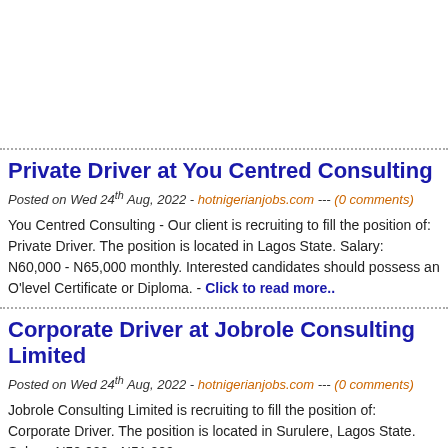Private Driver at You Centred Consulting
Posted on Wed 24th Aug, 2022 - hotnigerianjobs.com --- (0 comments)
You Centred Consulting - Our client is recruiting to fill the position of: Private Driver. The position is located in Lagos State. Salary: N60,000 - N65,000 monthly. Interested candidates should possess an O'level Certificate or Diploma. - Click to read more..
Corporate Driver at Jobrole Consulting Limited
Posted on Wed 24th Aug, 2022 - hotnigerianjobs.com --- (0 comments)
Jobrole Consulting Limited is recruiting to fill the position of: Corporate Driver. The position is located in Surulere, Lagos State. Salary: N50,000 - N51,000